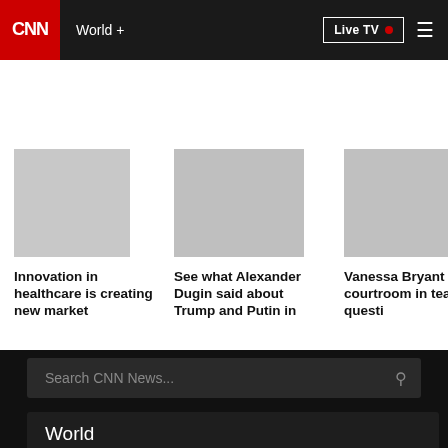CNN | World + | Live TV
Innovation in healthcare is creating new market
See what Alexander Dugin said about Trump and Putin in
Vanessa Bryant leaves courtroom in tears after questi
Search CNN News...
World
US Politics